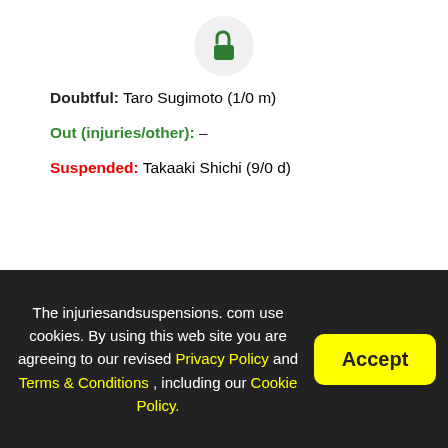[Figure (illustration): Green unlocked padlock icon inside a light gray circle]
Doubtful: Taro Sugimoto (1/0 m)
Out (injuries/other): –
Suspended: Takaaki Shichi (9/0 d)
Latest league games
Last 5  10  15
| Date | Home | Score | Away |
| --- | --- | --- | --- |
| 26-Aug | Sagan Tosu | 1 - 1 (1 - 1) | Avispa Fukuoka |
| 20-Aug | Avispa Fukuoka | 1 - 4 (1 - 2) | Kawasaki Frontale |
The injuriesandsuspensions. com use cookies. By using this web site you are agreeing to our revised Privacy Policy and Terms & Conditions , including our Cookie Policy.